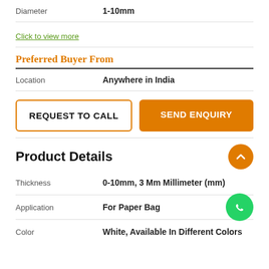| Property | Value |
| --- | --- |
| Diameter | 1-10mm |
Click to view more
Preferred Buyer From
| Property | Value |
| --- | --- |
| Location | Anywhere in India |
REQUEST TO CALL
SEND ENQUIRY
Product Details
| Property | Value |
| --- | --- |
| Thickness | 0-10mm, 3 Mm Millimeter (mm) |
| Application | For Paper Bag |
| Color | White, Available In Different Colors |